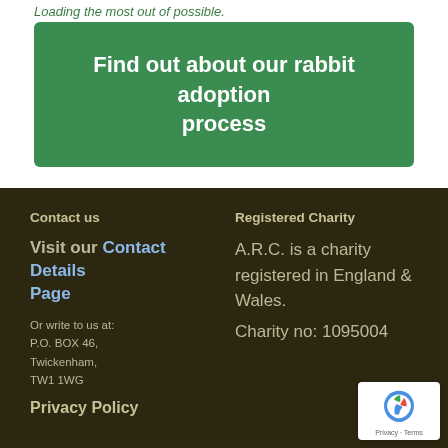Loading the most out of possble.
Find out about our rabbit adoption process
Contact us
Registered Charity
Visit our Contact Details Page
A.R.C. is a charity registered in England & Wales.
Or write to us at:
P.O. BOX 46,
Twickenham,
TW1 1WG
Charity no: 1095004
Privacy Policy